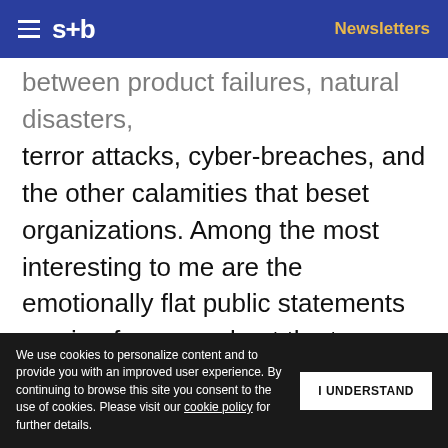s+b  Newsletters
between product failures, natural disasters, terror attacks, cyber-breaches, and the other calamities that beset organizations. Among the most interesting to me are the emotionally flat public statements coming from people at the top. Executive after executive comes across as uncaring, disconnected, or otherwise out of touch in their “you’re it” moment. They fail to bridge the empathy gap between the top of the organization and the
We use cookies to personalize content and to provide you with an improved user experience. By continuing to browse this site you consent to the use of cookies. Please visit our cookie policy for further details.